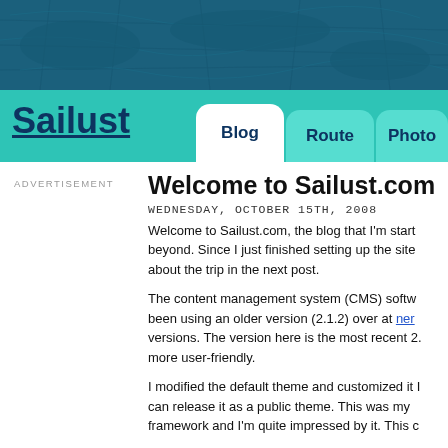[Figure (illustration): Dark teal header with nautical/map background texture]
Sailust
Blog   Route   Photo
ADVERTISEMENT
Welcome to Sailust.com
WEDNESDAY, OCTOBER 15TH, 2008
Welcome to Sailust.com, the blog that I'm start beyond. Since I just finished setting up the site about the trip in the next post.
The content management system (CMS) softw been using an older version (2.1.2) over at ner versions. The version here is the most recent 2. more user-friendly.
I modified the default theme and customized it I can release it as a public theme. This was my framework and I'm quite impressed by it. This c